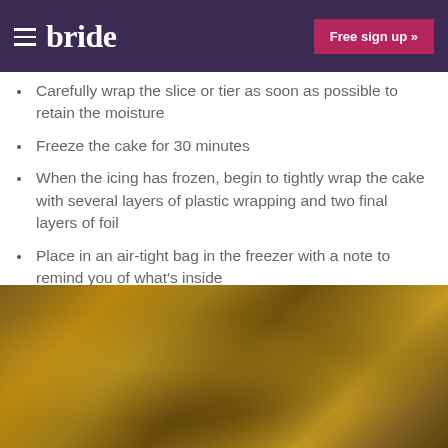bride | Free sign up »
Carefully wrap the slice or tier as soon as possible to retain the moisture
Freeze the cake for 30 minutes
When the icing has frozen, begin to tightly wrap the cake with several layers of plastic wrapping and two final layers of foil
Place in an air-tight bag in the freezer with a note to remind you of what's inside
When the time comes to eat it, defrost it in the fridge for a day in advance before removing the wrapping and leave it to sit at room temperature for a few hours.
[Figure (photo): Blurry warm-toned photograph with amber and brown hues, appearing to show wrapped items or packages in soft focus]